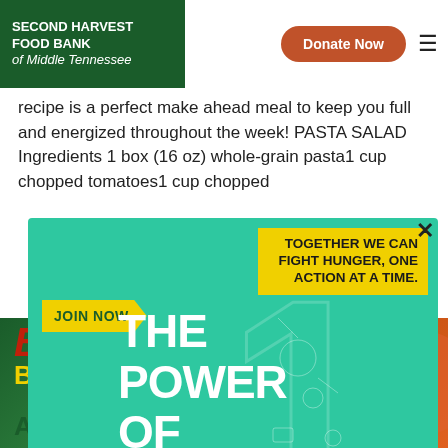SECOND HARVEST FOOD BANK of Middle Tennessee | Donate Now
recipe is a perfect make ahead meal to keep you full and energized throughout the week! PASTA SALAD Ingredients 1 box (16 oz) whole-grain pasta1 cup chopped tomatoes1 cup chopped
[Figure (infographic): Modal popup for 'The Power of 1 Challenge' campaign by Second Harvest Food Bank. Green background with large '1' numeral. Text: JOIN NOW (yellow arrow badge), THE POWER OF 1 CHALLENGE, TOGETHER WE CAN FIGHT HUNGER, ONE ACTION AT A TIME. Portrait photo of a young person in a circle.]
[Figure (photo): Bottom band showing 'Bites. BITE BACK!' text overlay on food imagery. Text: April 10 - May 1, 2019]